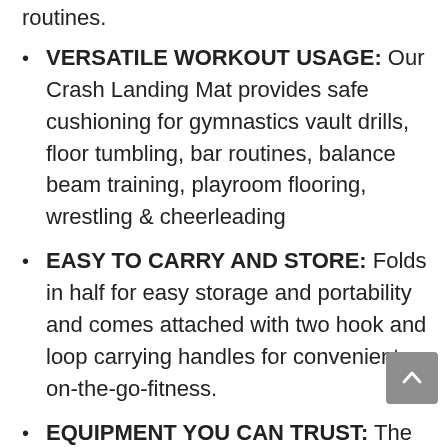routines.
VERSATILE WORKOUT USAGE: Our Crash Landing Mat provides safe cushioning for gymnastics vault drills, floor tumbling, bar routines, balance beam training, playroom flooring, wrestling & cheerleading
EASY TO CARRY AND STORE: Folds in half for easy storage and portability and comes attached with two hook and loop carrying handles for convenient on-the-go-fitness.
EQUIPMENT YOU CAN TRUST: The impact profile of our bifolding gymnastics crash landing mats is made to meet our strict standards for absorption, giving parents, coaches, and athletes peace of mind while they